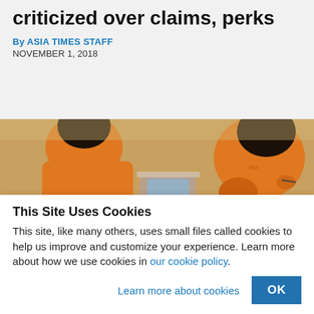criticized over claims, perks
By ASIA TIMES STAFF
NOVEMBER 1, 2018
[Figure (photo): Students in orange uniforms sitting at school desks, viewed from behind, with tablets/laptops on desks in a classroom setting.]
This Site Uses Cookies
This site, like many others, uses small files called cookies to help us improve and customize your experience. Learn more about how we use cookies in our cookie policy.
Learn more about cookies
OK